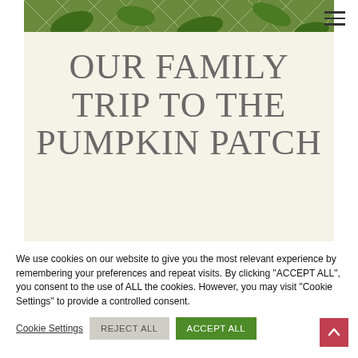[Figure (photo): Pumpkin patch vines and leaves photo strip at top of page]
OUR FAMILY TRIP TO THE PUMPKIN PATCH
We use cookies on our website to give you the most relevant experience by remembering your preferences and repeat visits. By clicking "ACCEPT ALL", you consent to the use of ALL the cookies. However, you may visit "Cookie Settings" to provide a controlled consent.
Cookie Settings | REJECT ALL | ACCEPT ALL